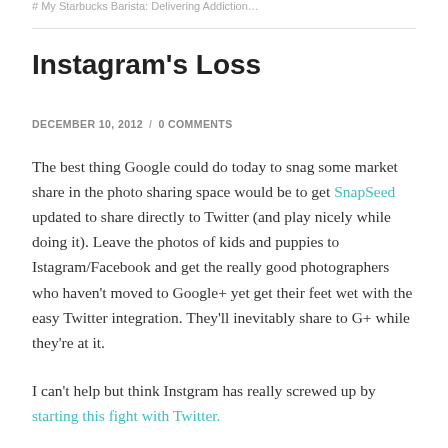# My Starbucks Barista: Delivering Addiction…
Instagram's Loss
DECEMBER 10, 2012 / 0 COMMENTS
The best thing Google could do today to snag some market share in the photo sharing space would be to get SnapSeed updated to share directly to Twitter (and play nicely while doing it). Leave the photos of kids and puppies to Istagram/Facebook and get the really good photographers who haven't moved to Google+ yet get their feet wet with the easy Twitter integration. They'll inevitably share to G+ while they're at it.
I can't help but think Instgram has really screwed up by starting this fight with Twitter.